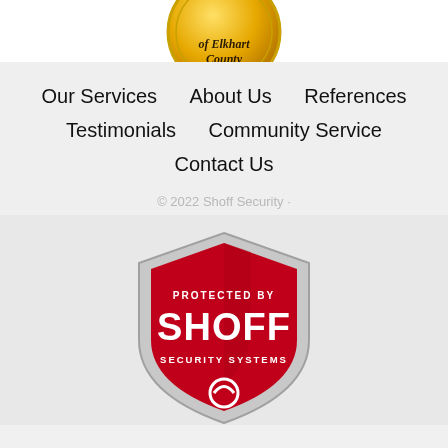[Figure (logo): Partial gold/yellow circular badge with text 'of Elkhart County' visible at top of page]
Our Services
About Us
References
Testimonials
Community Service
Contact Us
© 2022 Shoff Security ·
[Figure (logo): Red shield logo with grey/silver border reading 'PROTECTED BY SHOFF SECURITY SYSTEMS' with a small icon at bottom, partially cut off]